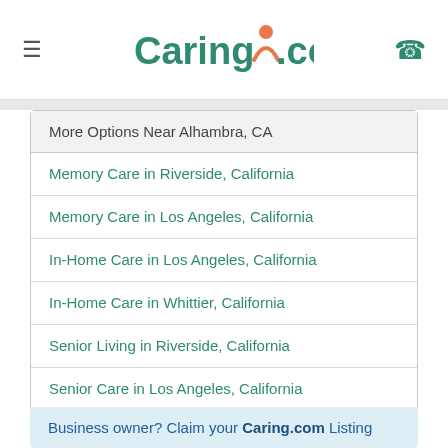Caring.com
More Options Near Alhambra, CA
Memory Care in Riverside, California
Memory Care in Los Angeles, California
In-Home Care in Los Angeles, California
In-Home Care in Whittier, California
Senior Living in Riverside, California
Senior Care in Los Angeles, California
Business owner? Claim your Caring.com Listing